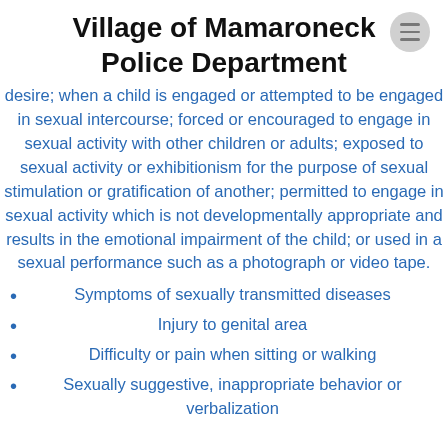Village of Mamaroneck Police Department
desire; when a child is engaged or attempted to be engaged in sexual intercourse; forced or encouraged to engage in sexual activity with other children or adults; exposed to sexual activity or exhibitionism for the purpose of sexual stimulation or gratification of another; permitted to engage in sexual activity which is not developmentally appropriate and results in the emotional impairment of the child; or used in a sexual performance such as a photograph or video tape.
Symptoms of sexually transmitted diseases
Injury to genital area
Difficulty or pain when sitting or walking
Sexually suggestive, inappropriate behavior or verbalization